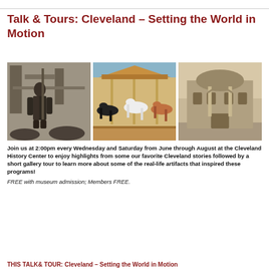Talk & Tours: Cleveland – Setting the World in Motion
[Figure (photo): Three historical photos side by side: left shows a man standing near industrial machinery in black and white; center shows a colorful carousel with black and white horse figures; right shows a historic stone building in sepia tone.]
Join us at 2:00pm every Wednesday and Saturday from June through August at the Cleveland History Center to enjoy highlights from some our favorite Cleveland stories followed by a short gallery tour to learn more about some of the real-life artifacts that inspired these programs!
FREE with museum admission; Members FREE.
THIS TALK& TOUR: Cleveland – Setting the World in Motion